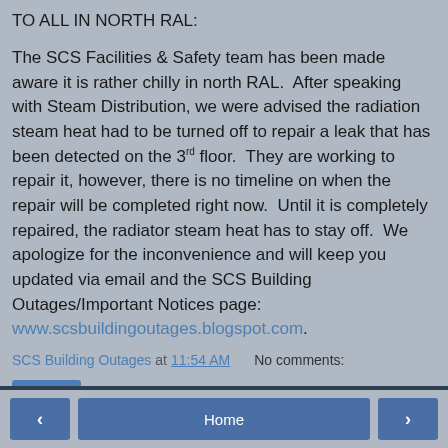TO ALL IN NORTH RAL:
The SCS Facilities & Safety team has been made aware it is rather chilly in north RAL.  After speaking with Steam Distribution, we were advised the radiation steam heat had to be turned off to repair a leak that has been detected on the 3rd floor.  They are working to repair it, however, there is no timeline on when the repair will be completed right now.  Until it is completely repaired, the radiator steam heat has to stay off.  We apologize for the inconvenience and will keep you updated via email and the SCS Building Outages/Important Notices page: www.scsbuildingoutages.blogspot.com.
SCS Building Outages at 11:54 AM   No comments:
Share
< Home >